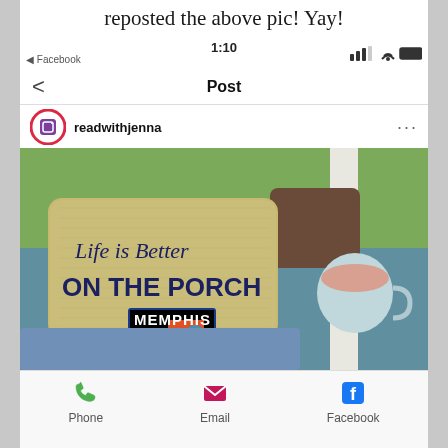reposted the above pic! Yay!
1:10
◀ Facebook
< Post
readwithjenna
[Figure (photo): Instagram post showing a decorative pillow reading 'Life is Better ON THE PORCH', a book titled MEMPHIS, and a light blue mug on a porch chair]
Phone
Email
Facebook